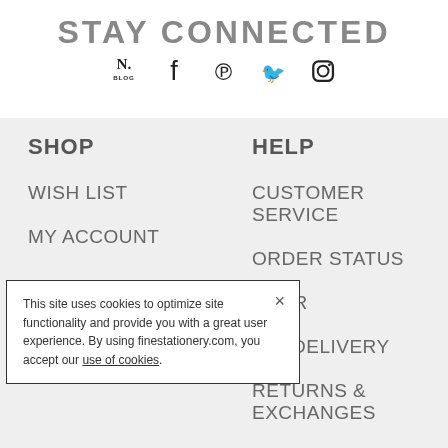STAY CONNECTED
[Figure (illustration): Social media icons: N. Blog, Facebook, Pinterest, Twitter, Instagram]
SHOP
HELP
WISH LIST
CUSTOMER SERVICE
MY ACCOUNT
ORDER STATUS
ORDER
G & DELIVERY
RETURNS & EXCHANGES
ETIQUETTE
This site uses cookies to optimize site functionality and provide you with a great user experience. By using finestationery.com, you accept our use of cookies.